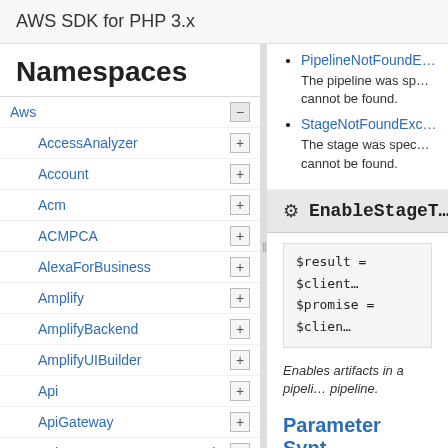AWS SDK for PHP 3.x
Namespaces
Aws
AccessAnalyzer
Account
Acm
ACMPCA
AlexaForBusiness
Amplify
AmplifyBackend
AmplifyUIBuilder
Api
ApiGateway
ApiGatewayManagementApi
PipelineNotFoundE...
The pipeline was sp... cannot be found.
StageNotFoundExc...
The stage was spec... cannot be found.
⚙ EnableStageT...
$result = $client...
$promise = $clien...
Enables artifacts in a pipeli... pipeline.
Parameter Synt...